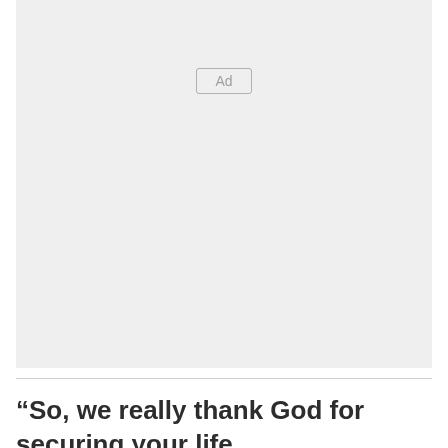[Figure (other): Advertisement placeholder box with 'Ad' label badge on light gray background]
“So, we really thank God for securing your life